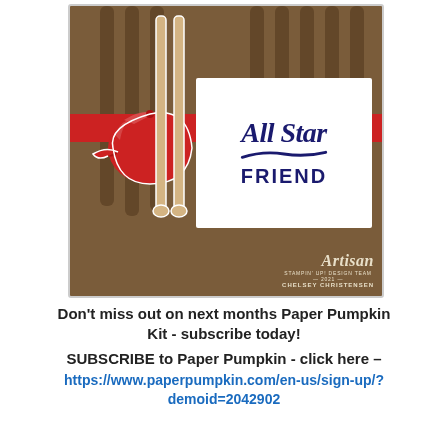[Figure (photo): A handmade crafting card featuring baseball bats in the background on a brown surface with a red band, a white card in the center reading 'All Star FRIEND' in navy blue lettering with a swoosh, and a red baseball cap die-cut on the left. Bottom right shows 'Artisan Stampin' Up! Design Team 2021 Chelsey Christensen' branding.]
Don't miss out on next months Paper Pumpkin Kit - subscribe today!
SUBSCRIBE to Paper Pumpkin - click here –
https://www.paperpumpkin.com/en-us/sign-up/?demoid=2042902